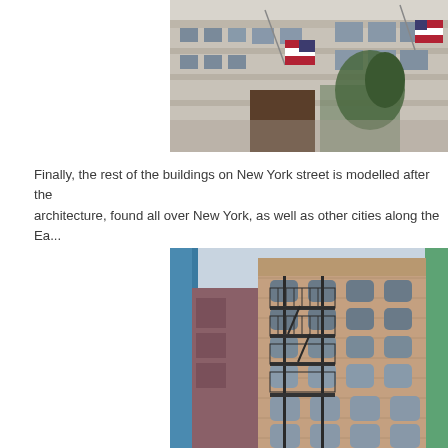[Figure (photo): Photo of a building exterior on New York street with American flags mounted on the facade, stone/concrete architecture, glass windows, and some greenery visible.]
Finally, the rest of the buildings on New York street is modelled after the architecture, found all over New York, as well as other cities along the Ea...
[Figure (photo): Photo looking up at a multi-story brick building with arched windows and fire escape stairs on the exterior, typical New York tenement architecture, with blue structural elements visible at the edges.]